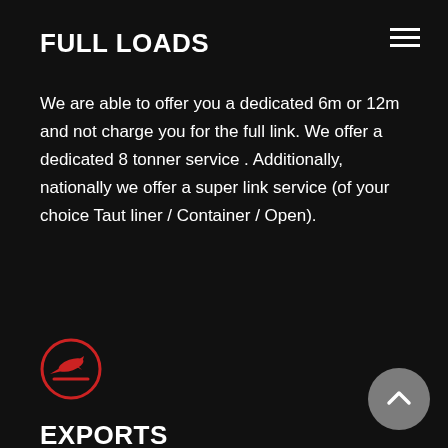FULL LOADS
We are able to offer you a dedicated 6m or 12m and not charge you for the full link. We offer a dedicated 8 tonner service . Additionally, nationally we offer a super link service (of your choice Taut liner / Container / Open).
[Figure (illustration): Red circular icon with a departing airplane silhouette and a horizontal line beneath it]
EXPORTS
We are able to consolidate your goods into all the BNSL countries or a dedicated vehicle at a cost effective rate. Any goods leaving South Africa for demonstration or exhibition purposes that will be returning to South Africa require paperwork and procedures prior to dispatch. Without which